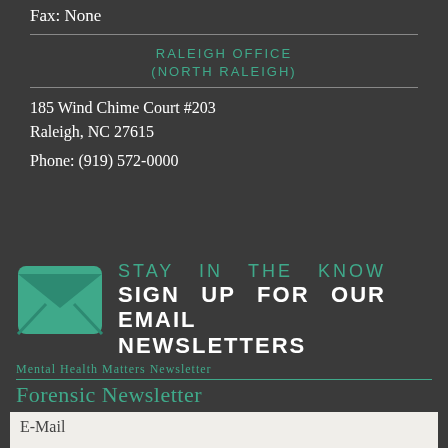Fax: None
RALEIGH OFFICE (NORTH RALEIGH)
185 Wind Chime Court #203
Raleigh, NC 27615

Phone: (919) 572-0000
[Figure (illustration): Green envelope icon for newsletter signup]
STAY IN THE KNOW
SIGN UP FOR OUR EMAIL NEWSLETTERS
Mental Health Matters Newsletter
Forensic Newsletter
E-Mail